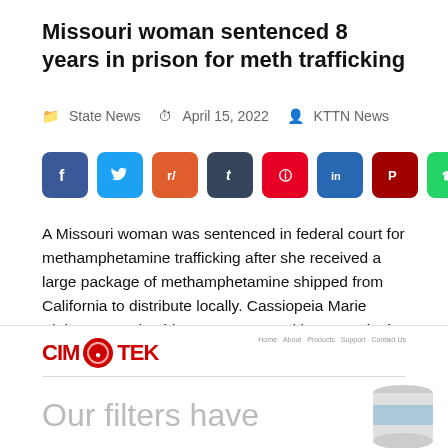Missouri woman sentenced 8 years in prison for meth trafficking
State News   April 15, 2022   KTTN News
[Figure (other): Social share buttons for Facebook, Twitter, Reddit, Tumblr, Pinterest, LinkedIn, Parler, WhatsApp]
A Missouri woman was sentenced in federal court for methamphetamine trafficking after she received a large package of methamphetamine shipped from California to distribute locally. Cassiopeia Marie Blaise, 37, Columbia, was sentenced by U.S. District Judge Stephen R. Bough to eight years in federal prison without parole. Blaise pleaded guilty on Aug. 31, 2021, to […]
[Figure (logo): CIM-TEK logo advertisement with text 'Our filters have']